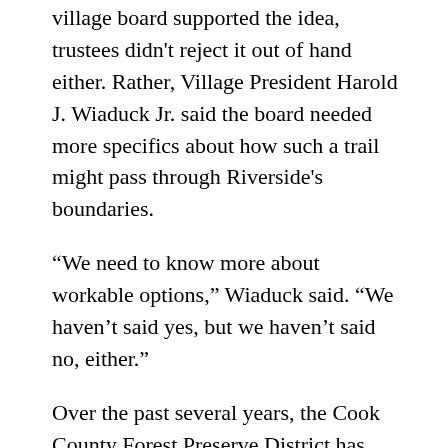village board supported the idea, trustees didn't reject it out of hand either. Rather, Village President Harold J. Wiaduck Jr. said the board needed more specifics about how such a trail might pass through Riverside's boundaries.
“We need to know more about workable options,” Wiaduck said. “We haven’t said yes, but we haven’t said no, either.”
Over the past several years, the Cook County Forest Preserve District has been investing in and encouraging the construction of bike trails within its boundaries and has received cooperation from some DuPage County municipalities to help link the Busse Woods trails to the Salt Creek Bike Trail in western Cook County.